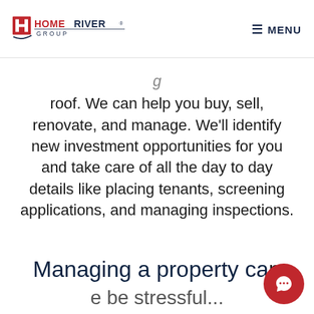HomeRiver Group — MENU
roof. We can help you buy, sell, renovate, and manage. We'll identify new investment opportunities for you and take care of all the day to day details like placing tenants, screening applications, and managing inspections.
Managing a property ca...